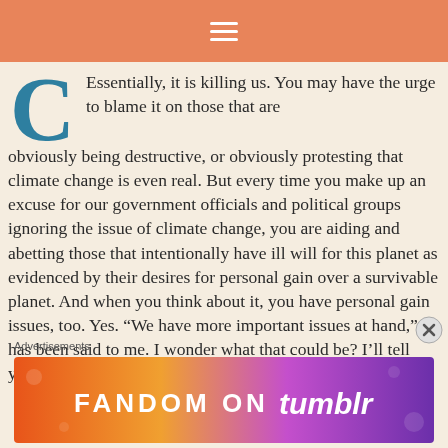≡
Essentially, it is killing us. You may have the urge to blame it on those that are obviously being destructive, or obviously protesting that climate change is even real. But every time you make up an excuse for our government officials and political groups ignoring the issue of climate change, you are aiding and abetting those that intentionally have ill will for this planet as evidenced by their desires for personal gain over a survivable planet. And when you think about it, you have personal gain issues, too. Yes. "We have more important issues at hand," has been said to me. I wonder what that could be? I'll tell you what it is, and it's not what you think.
Advertisements
[Figure (other): Fandom on Tumblr advertisement banner with colorful gradient background]